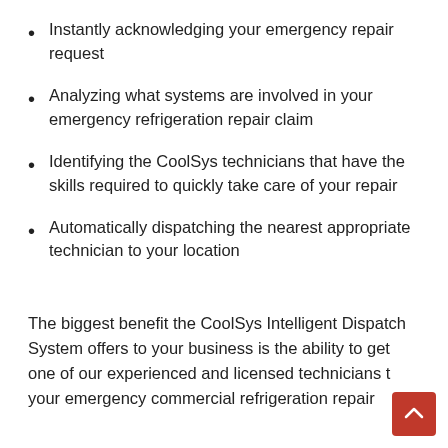Instantly acknowledging your emergency repair request
Analyzing what systems are involved in your emergency refrigeration repair claim
Identifying the CoolSys technicians that have the skills required to quickly take care of your repair
Automatically dispatching the nearest appropriate technician to your location
The biggest benefit the CoolSys Intelligent Dispatch System offers to your business is the ability to get one of our experienced and licensed technicians to your emergency commercial refrigeration repair